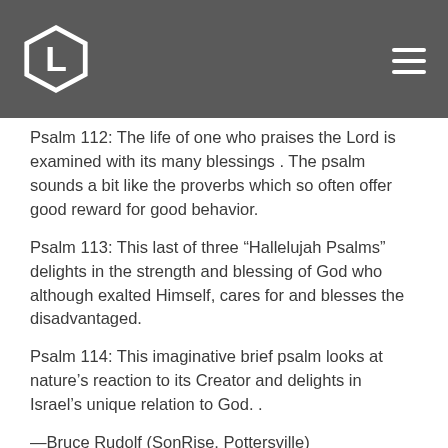Psalm 112: The life of one who praises the Lord is examined with its many blessings . The psalm sounds a bit like the proverbs which so often offer good reward for good behavior.
Psalm 113: This last of three “Hallelujah Psalms” delights in the strength and blessing of God who although exalted Himself, cares for and blesses the disadvantaged.
Psalm 114: This imaginative brief psalm looks at nature’s reaction to its Creator and delights in Israel’s unique relation to God. .
—Bruce Rudolf (SonRise, Pottersville)